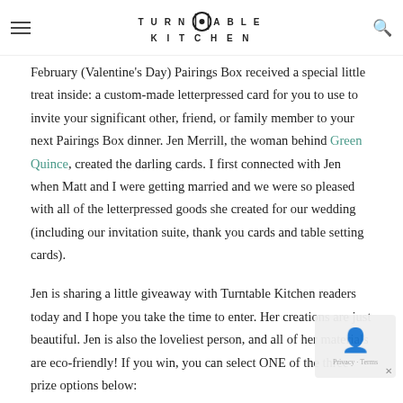Turntable Kitchen — navigation bar
February (Valentine's Day) Pairings Box received a special little treat inside: a custom-made letterpressed card for you to use to invite your significant other, friend, or family member to your next Pairings Box dinner. Jen Merrill, the woman behind Green Quince, created the darling cards. I first connected with Jen when Matt and I were getting married and we were so pleased with all of the letterpressed goods she created for our wedding (including our invitation suite, thank you cards and table setting cards).
Jen is sharing a little giveaway with Turntable Kitchen readers today and I hope you take the time to enter. Her creations are just beautiful. Jen is also the loveliest person, and all of her materials are eco-friendly! If you win, you can select ONE of the three prize options below: